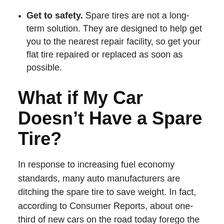Get to safety. Spare tires are not a long-term solution. They are designed to help get you to the nearest repair facility, so get your flat tire repaired or replaced as soon as possible.
What if My Car Doesn’t Have a Spare Tire?
In response to increasing fuel economy standards, many auto manufacturers are ditching the spare tire to save weight. In fact, according to Consumer Reports, about one-third of new cars on the road today forego the spare. Instead, they’ll include a can of tire sealant and an air pump.